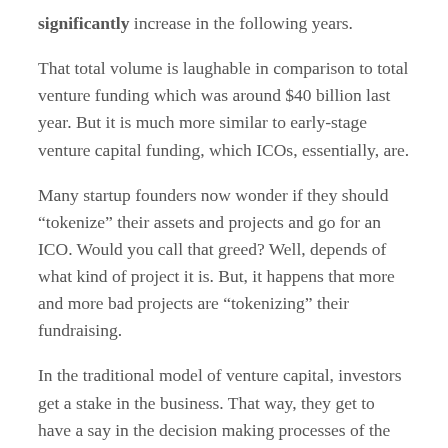significantly increase in the following years.
That total volume is laughable in comparison to total venture funding which was around $40 billion last year. But it is much more similar to early-stage venture capital funding, which ICOs, essentially, are.
Many startup founders now wonder if they should “tokenize” their assets and projects and go for an ICO. Would you call that greed? Well, depends of what kind of project it is. But, it happens that more and more bad projects are “tokenizing” their fundraising.
In the traditional model of venture capital, investors get a stake in the business. That way, they get to have a say in the decision making processes of the company. But what do you get by investing in ICOs?